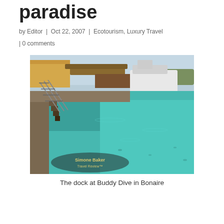paradise
by Editor | Oct 22, 2007 | Ecotourism, Luxury Travel | 0 comments
[Figure (photo): The dock at Buddy Dive resort in Bonaire showing a stone pier, stairs leading into clear turquoise water, a white boat moored to the dock, and tropical buildings in the background. Watermark reads Simone Baker Travel Review.]
The dock at Buddy Dive in Bonaire